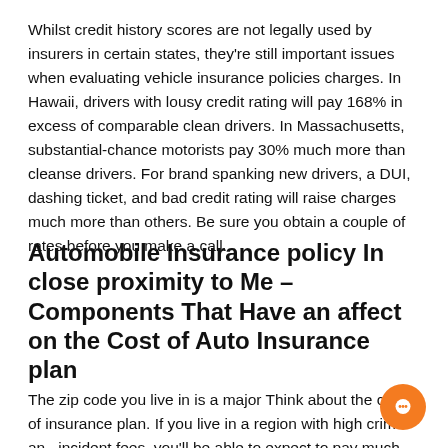Whilst credit history scores are not legally used by insurers in certain states, they're still important issues when evaluating vehicle insurance policies charges. In Hawaii, drivers with lousy credit rating will pay 168% in excess of comparable clean drivers. In Massachusetts, substantial-chance motorists pay 30% much more than cleanse drivers. For brand spanking new drivers, a DUI, dashing ticket, and bad credit rating will raise charges much more than others. Be sure you obtain a couple of rates before you make a call.
Automobile Insurance policy In close proximity to Me – Components That Have an affect on the Cost of Auto Insurance plan
The zip code you live in is a major Think about the cost of insurance plan. If you live in a region with high crime and incident fees, you'll be able to expect to pay much more for